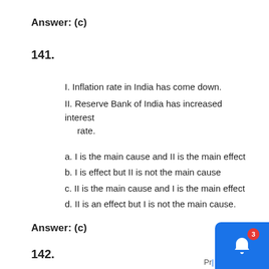Answer: (c)
141.
I. Inflation rate in India has come down.
II. Reserve Bank of India has increased interest rate.
a. I is the main cause and II is the main effect
b. I is effect but II is not the main cause
c. II is the main cause and I is the main effect
d. II is an effect but I is not the main cause.
Answer: (c)
142.